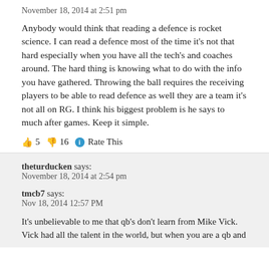November 18, 2014 at 2:51 pm
Anybody would think that reading a defence is rocket science. I can read a defence most of the time it's not that hard especially when you have all the tech's and coaches around. The hard thing is knowing what to do with the info you have gathered. Throwing the ball requires the receiving players to be able to read defence as well they are a team it's not all on RG. I think his biggest problem is he says to much after games. Keep it simple.
👍 5 👎 16 ℹ Rate This
theturducken says:
November 18, 2014 at 2:54 pm
tmcb7 says:
Nov 18, 2014 12:57 PM
It's unbelievable to me that qb's don't learn from Mike Vick. Vick had all the talent in the world, but when you are a qb and